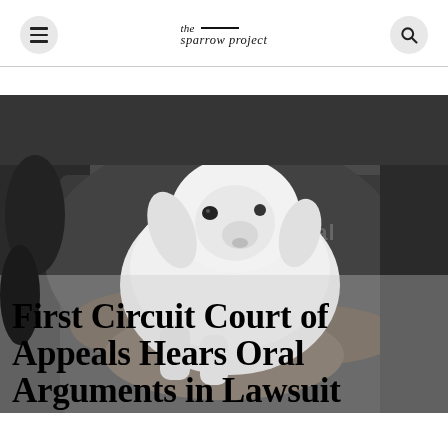the sparrow project
[Figure (photo): Black and white photograph of a person in an 'animal' branded shirt holding a young white lamb/kid goat. Overlaid on the bottom portion of the image is a large bold headline text.]
First Circuit Court of Appeals Hears Oral Arguments in Lawsuit